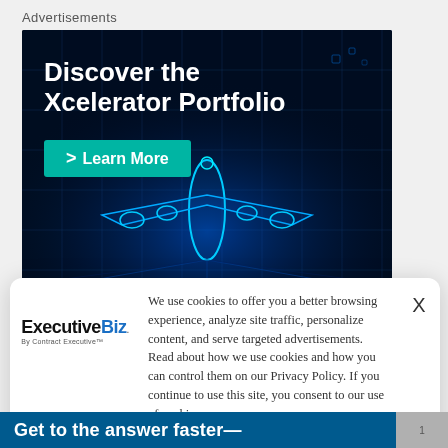Advertisements
[Figure (illustration): Advertisement banner for Xcelerator Portfolio showing a glowing blue wireframe airplane on a dark futuristic digital grid background. Text reads 'Discover the Xcelerator Portfolio' with a teal 'Learn More' button.]
[Figure (illustration): Cookie consent popup with ExecutiveBiz logo on the left. Text: 'We use cookies to offer you a better browsing experience, analyze site traffic, personalize content, and serve targeted advertisements. Read about how we use cookies and how you can control them on our Privacy Policy. If you continue to use this site, you consent to our use of cookies.' X close button on the right.]
Get to the answer faster—